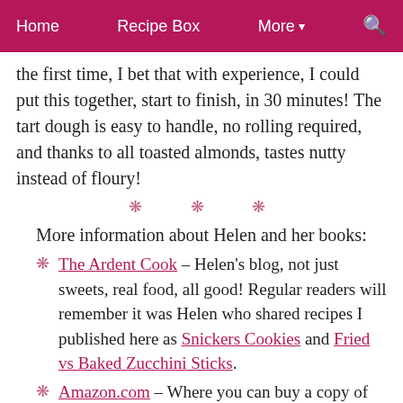Home   Recipe Box   More ▾   🔍
the first time, I bet that with experience, I could put this together, start to finish, in 30 minutes! The tart dough is easy to handle, no rolling required, and thanks to all toasted almonds, tastes nutty instead of floury!
❄ ❄ ❄
More information about Helen and her books:
The Ardent Cook – Helen's blog, not just sweets, real food, all good! Regular readers will remember it was Helen who shared recipes I published here as Snickers Cookies and Fried vs Baked Zucchini Sticks.
Amazon.com – Where you can buy a copy of Helen's book.